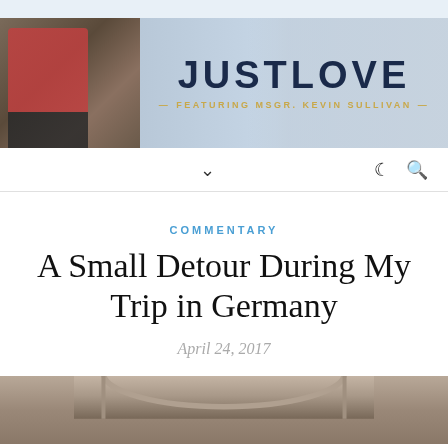[Figure (photo): JustLove website banner featuring Msgr. Kevin Sullivan, with photos of people and the text JUSTLOVE - FEATURING MSGR. KEVIN SULLIVAN -]
JUSTLOVE — FEATURING MSGR. KEVIN SULLIVAN —
COMMENTARY
A Small Detour During My Trip in Germany
April 24, 2017
[Figure (photo): Partial photo of an arched architectural interior, likely a church or historic building in Germany]